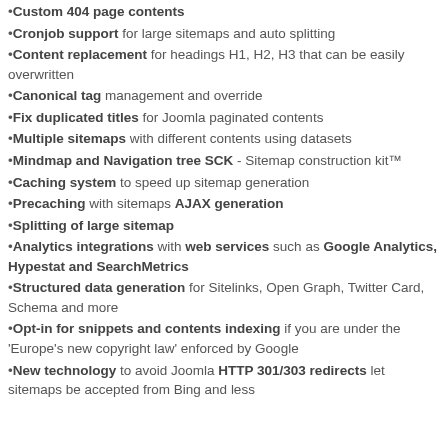•Custom 404 page contents
•Cronjob support for large sitemaps and auto splitting
•Content replacement for headings H1, H2, H3 that can be easily overwritten
•Canonical tag management and override
•Fix duplicated titles for Joomla paginated contents
•Multiple sitemaps with different contents using datasets
•Mindmap and Navigation tree SCK - Sitemap construction kit™
•Caching system to speed up sitemap generation
•Precaching with sitemaps AJAX generation
•Splitting of large sitemap
•Analytics integrations with web services such as Google Analytics, Hypestat and SearchMetrics
•Structured data generation for Sitelinks, Open Graph, Twitter Card, Schema and more
•Opt-in for snippets and contents indexing if you are under the 'Europe's new copyright law' enforced by Google
•New technology to avoid Joomla HTTP 301/303 redirects let sitemaps be accepted from Bing and less